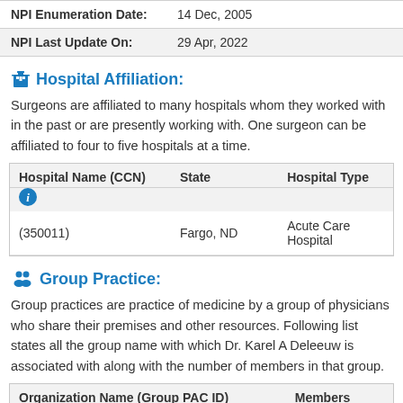| NPI Enumeration Date: | 14 Dec, 2005 |
| --- | --- |
| NPI Last Update On: | 29 Apr, 2022 |
| --- | --- |
Hospital Affiliation:
Surgeons are affiliated to many hospitals whom they worked with in the past or are presently working with. One surgeon can be affiliated to four to five hospitals at a time.
| Hospital Name (CCN) | State | Hospital Type |
| --- | --- | --- |
| (350011) | Fargo, ND | Acute Care Hospital |
Group Practice:
Group practices are practice of medicine by a group of physicians who share their premises and other resources. Following list states all the group name with which Dr. Karel A Deleeuw is associated with along with the number of members in that group.
| Organization Name (Group PAC ID) | Members |
| --- | --- |